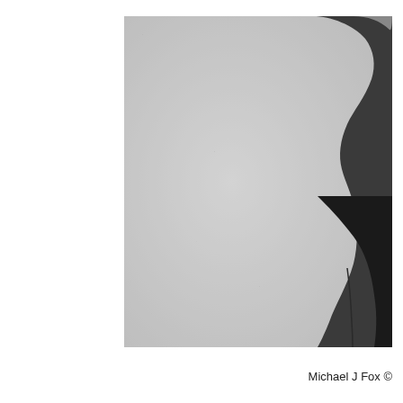[Figure (photo): Black and white close-up photograph of a person in profile view facing right, wearing a dark jacket. The upper portion shows the person's chin and lower face in the top-right corner. The background is a plain light grey. The figure occupies the right portion of the frame.]
Michael J Fox ©